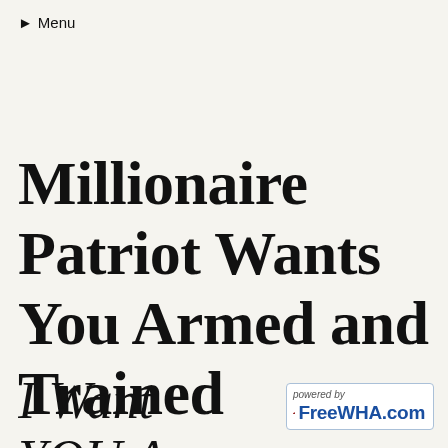▶ Menu
Millionaire Patriot Wants You Armed and Trained
I Want YOU Armed and Trained
[Figure (logo): FreeWHA.com powered by logo badge with red and dark arrow graphic]